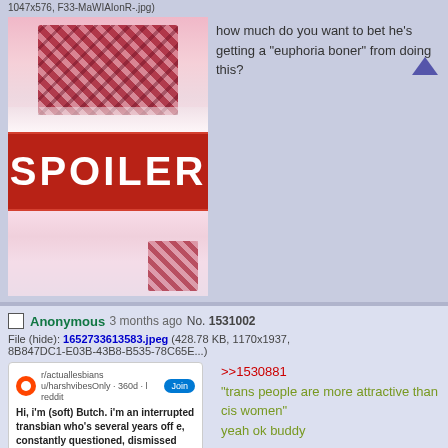1047x576, F33-MaWIAIonR-.jpg)
[Figure (screenshot): Image with SPOILER overlay banner in red covering the middle portion]
how much do you want to bet he's getting a "euphoria boner" from doing this?
Anonymous 3 months ago No. 1531002
File (hide): 1652733613583.jpeg (428.78 KB, 1170x1937, 8B847DC1-E03B-43B8-B535-78C65E...)
[Figure (screenshot): Reddit post screenshot from r/actuallesbians about someone describing themselves as soft butch transbian]
>>1530881
"trans people are more attractive than cis women" yeah ok buddy